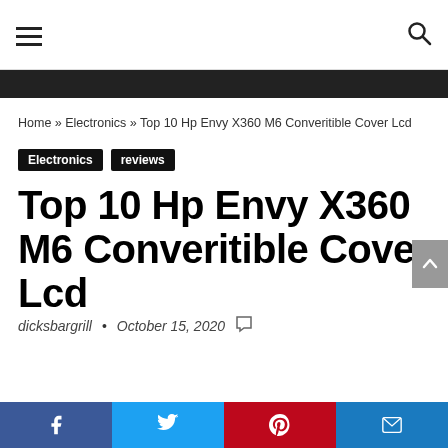dicksbargrill — Top 10 Hp Envy X360 M6 Converitible Cover Lcd
Home » Electronics » Top 10 Hp Envy X360 M6 Converitible Cover Lcd
Electronics   reviews
Top 10 Hp Envy X360 M6 Converitible Cover Lcd
dicksbargrill  •  October 15, 2020
Facebook  Twitter  Pinterest  Email